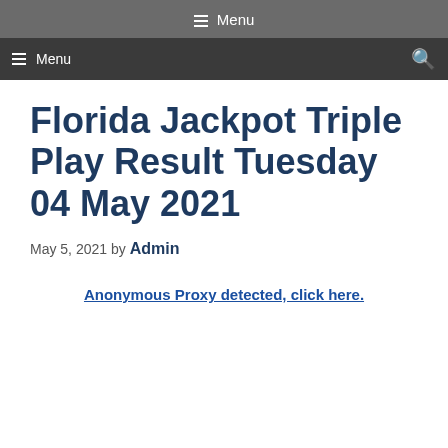☰ Menu
☰ Menu  🔍
Florida Jackpot Triple Play Result Tuesday 04 May 2021
May 5, 2021 by Admin
Anonymous Proxy detected, click here.